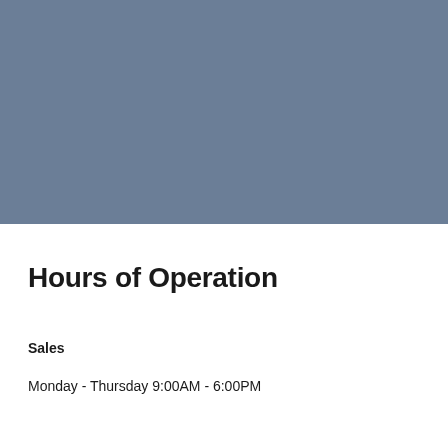[Figure (photo): Solid blue-grey colored rectangular image block filling the upper half of the page]
Hours of Operation
Sales
Monday - Thursday 9:00AM - 6:00PM